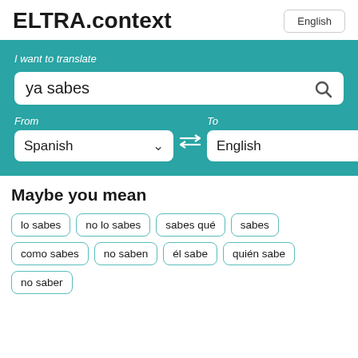ELTRA.context
English
I want to translate
ya sabes
From
To
Spanish
English
Maybe you mean
lo sabes
no lo sabes
sabes qué
sabes
como sabes
no saben
él sabe
quién sabe
no saber